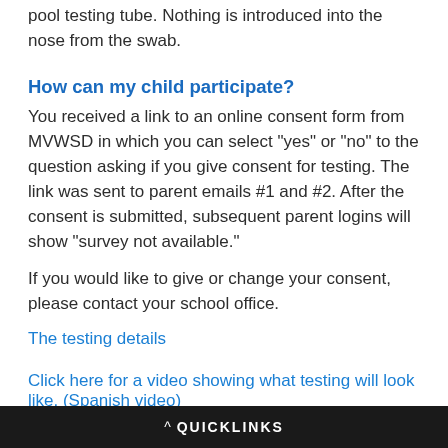pool testing tube. Nothing is introduced into the nose from the swab.
How can my child participate?
You received a link to an online consent form from MVWSD in which you can select "yes" or "no" to the question asking if you give consent for testing. The link was sent to parent emails #1 and #2. After the consent is submitted, subsequent parent logins will show "survey not available."
If you would like to give or change your consent, please contact your school office.
The testing details
Click here for a video showing what testing will look like. (Spanish video)
^ QUICKLINKS